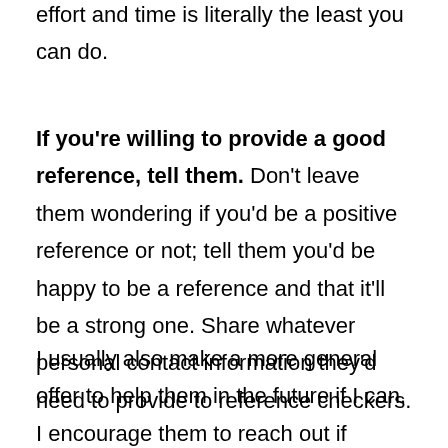effort and time is literally the least you can do.
If you're willing to provide a good reference, tell them. Don't leave them wondering if you'd be a positive reference or not; tell them you'd be happy to be a reference and that it'll be a strong one. Share whatever personal contact information they'd need to provide to reference checkers.
I usually also make a more general offer to help them in the future if I can. I encourage them to reach out if